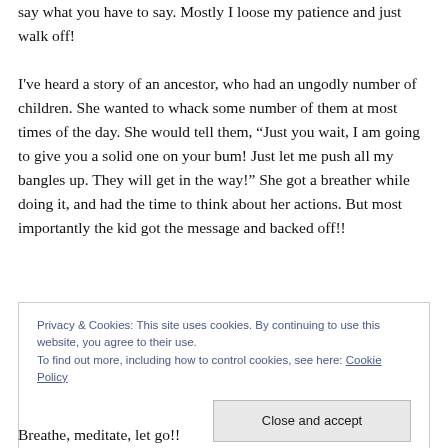say what you have to say. Mostly I loose my patience and just walk off!
I've heard a story of an ancestor, who had an ungodly number of children. She wanted to whack some number of them at most times of the day. She would tell them, “Just you wait, I am going to give you a solid one on your bum! Just let me push all my bangles up. They will get in the way!” She got a breather while doing it, and had the time to think about her actions. But most importantly the kid got the message and backed off!!
Privacy & Cookies: This site uses cookies. By continuing to use this website, you agree to their use.
To find out more, including how to control cookies, see here: Cookie Policy
Breathe, meditate, let go!!